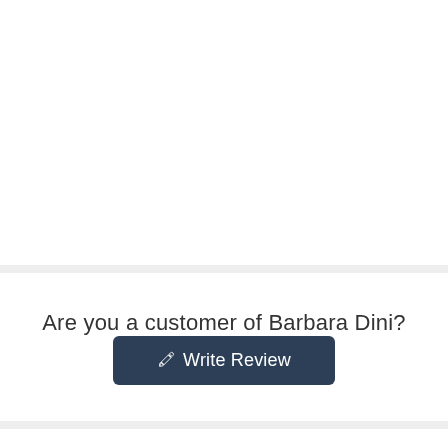Are you a customer of Barbara Dini?
Write Review